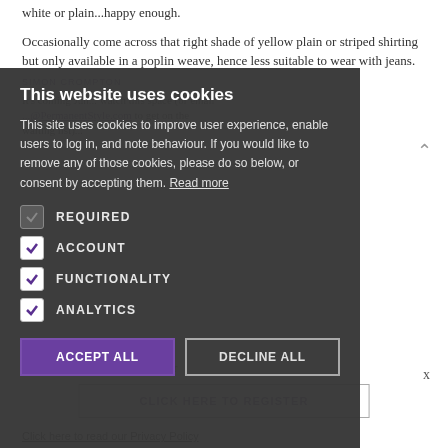white or plain...happy enough.
Occasionally come across that right shade of yellow plain or striped shirting but only available in a poplin weave, hence less suitable to wear with jeans.
[Figure (screenshot): Cookie consent dialog overlay on a web page. Title: 'This website uses cookies'. Body text explaining cookie usage. Checkboxes for REQUIRED, ACCOUNT, FUNCTIONALITY, ANALYTICS. Buttons: ACCEPT ALL and DECLINE ALL.]
It's coming Jun... watch this space (or email ...@PermanentStyle.com to get on the waiting list)...
The Permanent Style Newsletter
CLICK HERE TO REGISTER
Click here to read our Privacy Policy